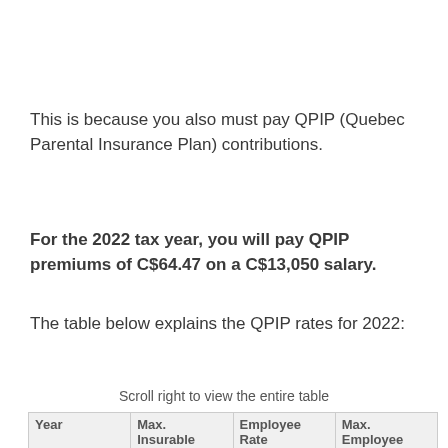This is because you also must pay QPIP (Quebec Parental Insurance Plan) contributions.
For the 2022 tax year, you will pay QPIP premiums of C$64.47 on a C$13,050 salary.
The table below explains the QPIP rates for 2022:
Scroll right to view the entire table
| Year | Max. Insurable | Employee Rate | Max. Employee |
| --- | --- | --- | --- |